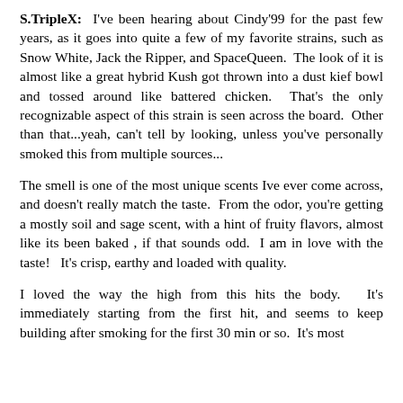S.TripleX: I've been hearing about Cindy'99 for the past few years, as it goes into quite a few of my favorite strains, such as Snow White, Jack the Ripper, and SpaceQueen. The look of it is almost like a great hybrid Kush got thrown into a dust kief bowl and tossed around like battered chicken. That's the only recognizable aspect of this strain is seen across the board. Other than that...yeah, can't tell by looking, unless you've personally smoked this from multiple sources...
The smell is one of the most unique scents Ive ever come across, and doesn't really match the taste. From the odor, you're getting a mostly soil and sage scent, with a hint of fruity flavors, almost like its been baked , if that sounds odd. I am in love with the taste! It's crisp, earthy and loaded with quality.
I loved the way the high from this hits the body. It's immediately starting from the first hit, and seems to keep building after smoking for the first 30 min or so. It's most